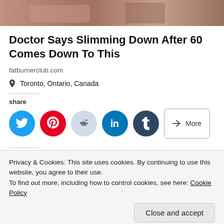[Figure (photo): Partial photo visible at top of page, showing a person outdoors]
Doctor Says Slimming Down After 60 Comes Down To This
fatburnerclub.com
Toronto, Ontario, Canada
share
[Figure (infographic): Social share buttons: Twitter (blue), Pinterest (red), Reddit (light blue), LinkedIn (blue), Tumblr (dark blue), More button]
Related
[Figure (photo): Related article thumbnail on left]
[Figure (photo): Related article thumbnail on right]
Privacy & Cookies: This site uses cookies. By continuing to use this website, you agree to their use.
To find out more, including how to control cookies, see here: Cookie Policy
Close and accept